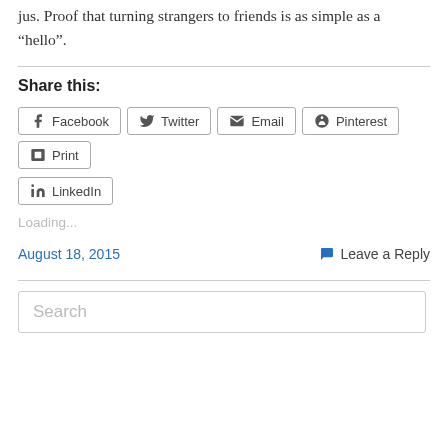jus. Proof that turning strangers to friends is as simple as a “hello”.
Share this:
[Figure (other): Social share buttons: Facebook, Twitter, Email, Pinterest, Print, LinkedIn]
Loading...
August 18, 2015
Leave a Reply
[Figure (other): Search input box with placeholder text 'Search']